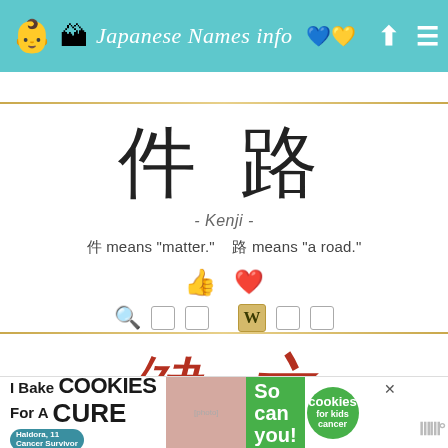Japanese Names info
件路
- Kenji -
件 means "matter."   路 means "a road."
[Figure (illustration): Thumbs up icon (teal) and heart icon (red/pink) for liking the name]
[Figure (illustration): Search icon (green) with action boxes and Scrabble W tile icon with additional action boxes]
健之
[Figure (illustration): Advertisement banner: I Bake COOKIES For A CURE - Haldora, 11 Cancer Survivor - So can you! - cookies for kids cancer]